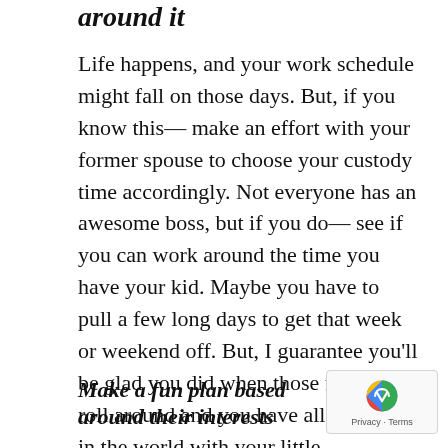around it
Life happens, and your work schedule might fall on those days. But, if you know this— make an effort with your former spouse to choose your custody time accordingly. Not everyone has an awesome boss, but if you do— see if you can work around the time you have your kid. Maybe you have to pull a few long days to get that week or weekend off. But, I guarantee you'll be glad you did when those few days roll around and you have all the time in the world with your little munchkin.
Make a fun plan based around their interests